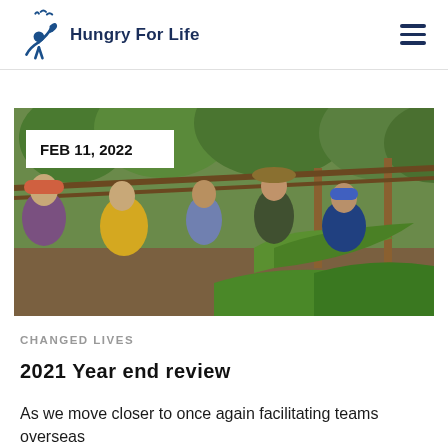Hungry For Life
[Figure (photo): Group of people sitting outdoors under a rustic wooden structure with palm fronds and trees in the background. Date badge shows FEB 11, 2022.]
CHANGED LIVES
2021 Year end review
As we move closer to once again facilitating teams overseas